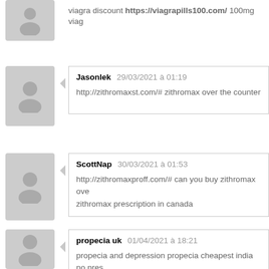viagra discount https://viagrapills100.com/ 100mg viag
Jasonlek  29/03/2021 à 01:19
http://zithromaxst.com/# zithromax over the counter
ScottNap  30/03/2021 à 01:53
http://zithromaxproff.com/# can you buy zithromax over... zithromax prescription in canada
propecia uk  01/04/2021 à 18:21
propecia and depression propecia cheapest india no pres... while on propecia how many propecia users in united st...